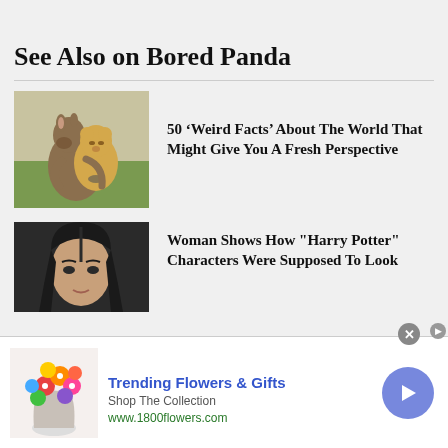See Also on Bored Panda
[Figure (photo): Kangaroo hugging a teddy bear outdoors]
50 ‘Weird Facts’ About The World That Might Give You A Fresh Perspective
[Figure (photo): Woman with long dark hair parted in the middle]
Woman Shows How "Harry Potter" Characters Were Supposed To Look
[Figure (photo): Advertisement: Trending Flowers & Gifts - colorful flower bouquet]
Trending Flowers & Gifts
Shop The Collection
www.1800flowers.com